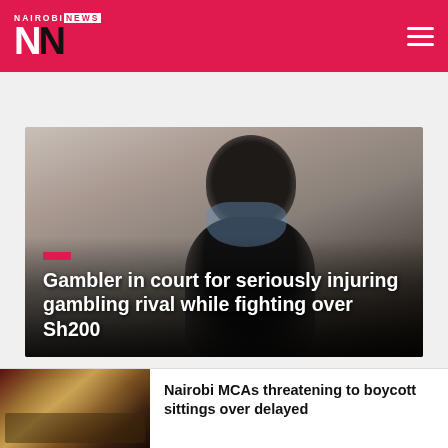NAIROBI NEWS
[Figure (photo): A man wearing a blue face mask looking upward, photographed from below against a light grey background. Overlay text reads: 'Gambler in court for seriously injuring gambling rival while fighting over Sh200']
Gambler in court for seriously injuring gambling rival while fighting over Sh200
[Figure (photo): A court or assembly hall interior with people seated, lit with warm lighting, possibly Nairobi county assembly]
Nairobi MCAs threatening to boycott sittings over delayed